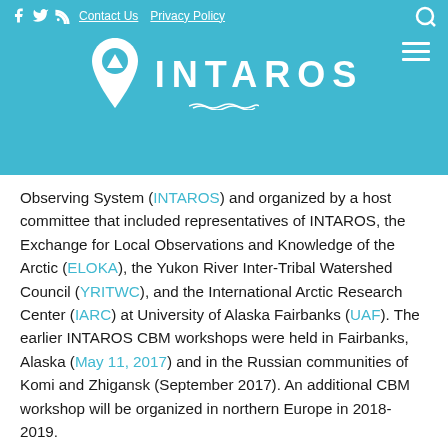INTAROS — navigation header with Contact Us and Privacy Policy links and hamburger menu
Observing System (INTAROS) and organized by a host committee that included representatives of INTAROS, the Exchange for Local Observations and Knowledge of the Arctic (ELOKA), the Yukon River Inter-Tribal Watershed Council (YRITWC), and the International Arctic Research Center (IARC) at University of Alaska Fairbanks (UAF). The earlier INTAROS CBM workshops were held in Fairbanks, Alaska (May 11, 2017) and in the Russian communities of Komi and Zhigansk (September 2017). An additional CBM workshop will be organized in northern Europe in 2018-2019.
Photo: Lisbeth Iversen (Nansen Environmental & Remote Sensing Center) and Finn Danielsen (NORDECO) introduce